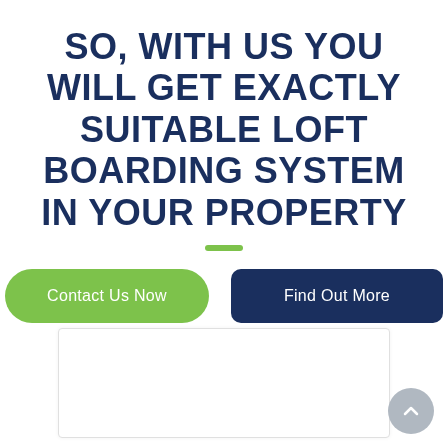SO, WITH US YOU WILL GET EXACTLY SUITABLE LOFT BOARDING SYSTEM IN YOUR PROPERTY
Contact Us Now
Find Out More
[Figure (other): White content box placeholder at the bottom of the page, with a grey circular scroll-to-top button in the bottom right corner]